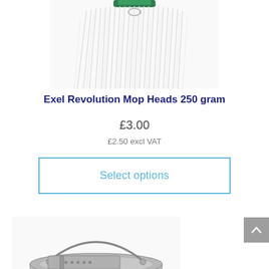[Figure (photo): Mop head with white cotton strands and green plastic fitting visible at top, partially cropped]
Exel Revolution Mop Heads 250 gram
£3.00
£2.50 excl VAT
Select options
[Figure (photo): Galvanised metal mop bucket with metal handle and built-in wringer/strainer, partially cropped at bottom]